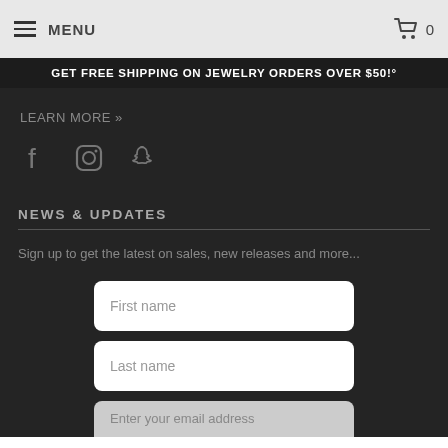MENU  0
GET FREE SHIPPING ON JEWELRY ORDERS OVER $50!°
LEARN MORE »
[Figure (illustration): Social media icons: Facebook, Instagram, Snapchat]
NEWS & UPDATES
Sign up to get the latest on sales, new releases and more...
First name
Last name
Enter your email address